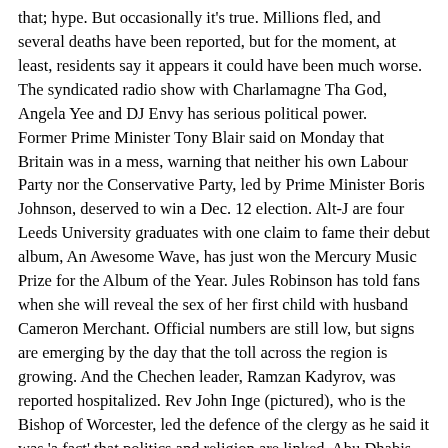that; hype. But occasionally it's true. Millions fled, and several deaths have been reported, but for the moment, at least, residents say it appears it could have been much worse. The syndicated radio show with Charlamagne Tha God, Angela Yee and DJ Envy has serious political power. Former Prime Minister Tony Blair said on Monday that Britain was in a mess, warning that neither his own Labour Party nor the Conservative Party, led by Prime Minister Boris Johnson, deserved to win a Dec. 12 election. Alt-J are four Leeds University graduates with one claim to fame their debut album, An Awesome Wave, has just won the Mercury Music Prize for the Album of the Year. Jules Robinson has told fans when she will reveal the sex of her first child with husband Cameron Merchant. Official numbers are still low, but signs are emerging by the day that the toll across the region is growing. And the Chechen leader, Ramzan Kadyrov, was reported hospitalized. Rev John Inge (pictured), who is the Bishop of Worcester, led the defence of the clergy as he said it was 'a fact' that politics and religion are linked. Abu Dhabis state fund Mubadala was expected to sell $3 billion to $4 billion in a three-tranche bond offering and has received more than $17 billion in combined orders for the deal, a document showed on Tuesday. What is it with women and shoes? Air France and KLM say they will be asking customers to wear a mask throughout their journey from next Monday. German airline Lufthansa brought in the new rule